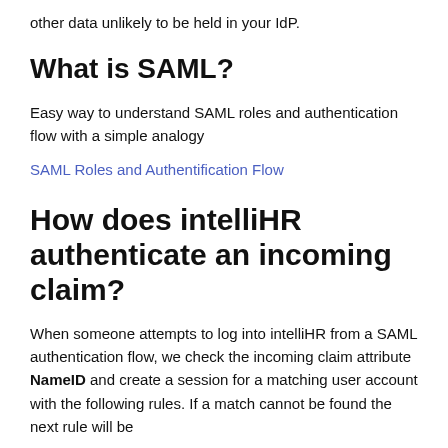other data unlikely to be held in your IdP.
What is SAML?
Easy way to understand SAML roles and authentication flow with a simple analogy
SAML Roles and Authentification Flow
How does intelliHR authenticate an incoming claim?
When someone attempts to log into intelliHR from a SAML authentication flow, we check the incoming claim attribute NameID and create a session for a matching user account with the following rules. If a match cannot be found the next rule will be